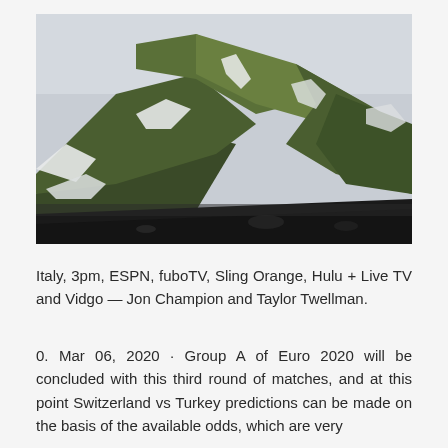[Figure (photo): Photograph of a large green moss-covered volcanic mountain with white snow patches, set against a grey sky, with dark black volcanic rock/lava field in the foreground.]
Italy, 3pm, ESPN, fuboTV, Sling Orange, Hulu + Live TV and Vidgo — Jon Champion and Taylor Twellman.
0. Mar 06, 2020 · Group A of Euro 2020 will be concluded with this third round of matches, and at this point Switzerland vs Turkey predictions can be made on the basis of the available odds, which are very